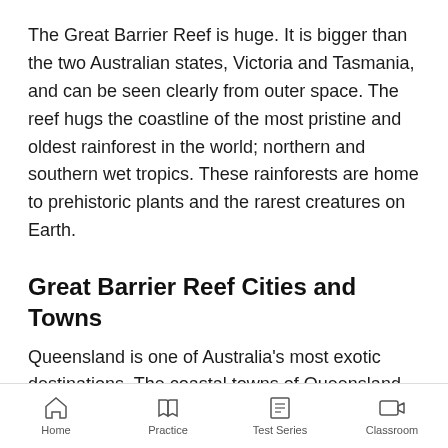The Great Barrier Reef is huge. It is bigger than the two Australian states, Victoria and Tasmania, and can be seen clearly from outer space. The reef hugs the coastline of the most pristine and oldest rainforest in the world; northern and southern wet tropics. These rainforests are home to prehistoric plants and the rarest creatures on Earth.
Great Barrier Reef Cities and Towns
Queensland is one of Australia's most exotic destinations. The coastal towns of Queensland are incredible to discover, including the places like Pallarenda, Townsville, Rowes Bay, Garbutt, Mysterton, and Pimlico. All these services around the Great...
Home | Practice | Test Series | Classroom